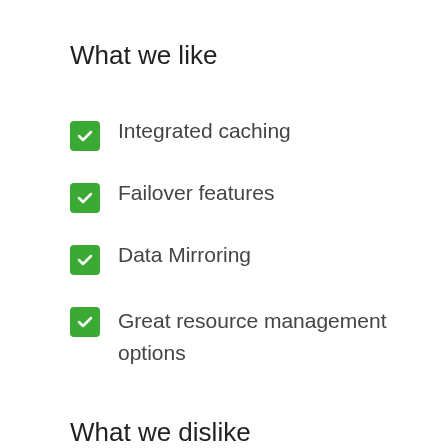What we like
Integrated caching
Failover features
Data Mirroring
Great resource management options
What we dislike